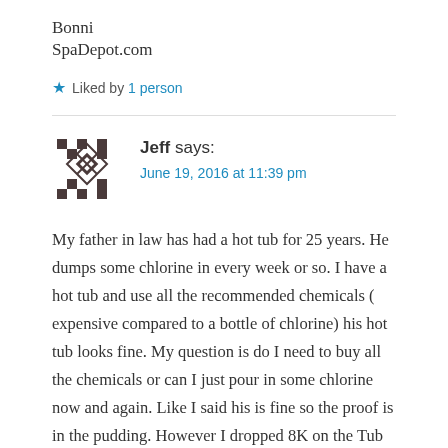Bonni
SpaDepot.com
Liked by 1 person
Jeff says:
June 19, 2016 at 11:39 pm
My father in law has had a hot tub for 25 years. He dumps some chlorine in every week or so. I have a hot tub and use all the recommended chemicals ( expensive compared to a bottle of chlorine) his hot tub looks fine. My question is do I need to buy all the chemicals or can I just pour in some chlorine now and again. Like I said his is fine so the proof is in the pudding. However I dropped 8K on the Tub and I don't want to